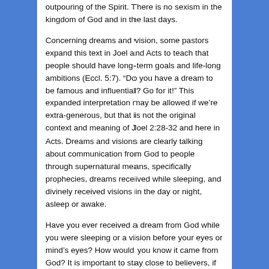outpouring of the Spirit. There is no sexism in the kingdom of God and in the last days.
Concerning dreams and vision, some pastors expand this text in Joel and Acts to teach that people should have long-term goals and life-long ambitions (Eccl. 5:7). “Do you have a dream to be famous and influential? Go for it!” This expanded interpretation may be allowed if we’re extra-generous, but that is not the original context and meaning of Joel 2:28-32 and here in Acts. Dreams and visions are clearly talking about communication from God to people through supernatural means, specifically prophecies, dreams received while sleeping, and divinely received visions in the day or night, asleep or awake.
Have you ever received a dream from God while you were sleeping or a vision before your eyes or mind’s eyes? How would you know it came from God? It is important to stay close to believers, if you get a lot of dreams and visions. Agabus was a prophet who functioned in a team (Acts 11:27-30). His predictions came true (see Acts 21:10-11).